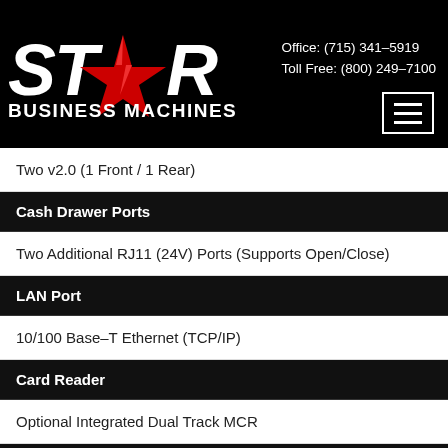[Figure (logo): Star Business Machines Inc logo with red star graphic on black background]
Office: (715) 341-5919
Toll Free: (800) 249-7100
Two v2.0 (1 Front / 1 Rear)
Cash Drawer Ports
Two Additional RJ11 (24V) Ports (Supports Open/Close)
LAN Port
10/100 Base-T Ethernet (TCP/IP)
Card Reader
Optional Integrated Dual Track MCR
Compact Flash